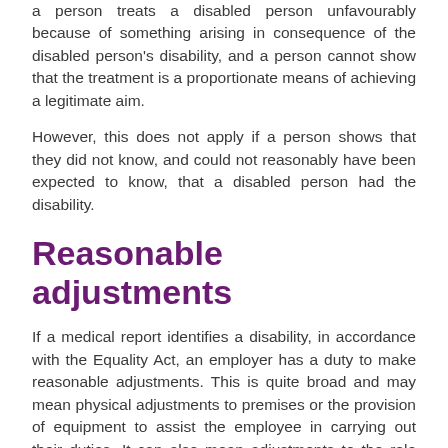a person treats a disabled person unfavourably because of something arising in consequence of the disabled person's disability, and a person cannot show that the treatment is a proportionate means of achieving a legitimate aim.
However, this does not apply if a person shows that they did not know, and could not reasonably have been expected to know, that a disabled person had the disability.
Reasonable adjustments
If a medical report identifies a disability, in accordance with the Equality Act, an employer has a duty to make reasonable adjustments. This is quite broad and may mean physical adjustments to premises or the provision of equipment to assist the employee in carrying out their duties. It can also mean adjustments to the role itself by removing certain duties and reallocating them, changes in hours or place of work, or the provision of further training and supervision. It may also include transferring to any other vacant post subject to suitability.